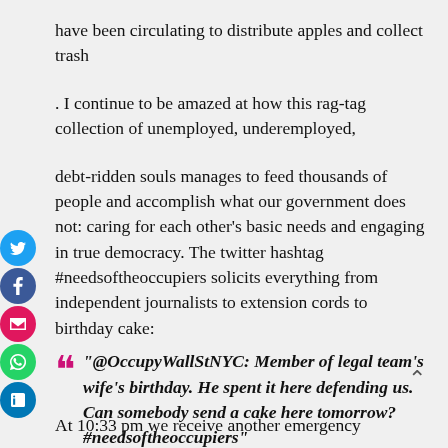have been circulating to distribute apples and collect trash
. I continue to be amazed at how this rag-tag collection of unemployed, underemployed,
debt-ridden souls manages to feed thousands of people and accomplish what our government does not: caring for each other's basic needs and engaging in true democracy. The twitter hashtag #needsoftheoccupiers solicits everything from independent journalists to extension cords to birthday cake:
“@OccupyWallStNYC: Member of legal team’s wife’s birthday. He spent it here defending us. Can somebody send a cake here tomorrow? #needsoftheoccupiers”
At 10:33 pm we receive another emergency